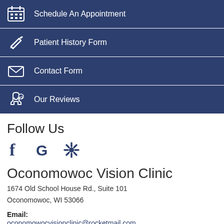Schedule An Appointment
Patient History Form
Contact Form
Our Reviews
Follow Us
[Figure (other): Social media icons: Facebook (f), Google (G), Yelp (asterisk/flower)]
Oconomowoc Vision Clinic
1674 Old School House Rd., Suite 101
Oconomowoc, WI 53066
Email:
oconomowocvisionclinic@rocketmail.com
(for general correspondence and health information by email)